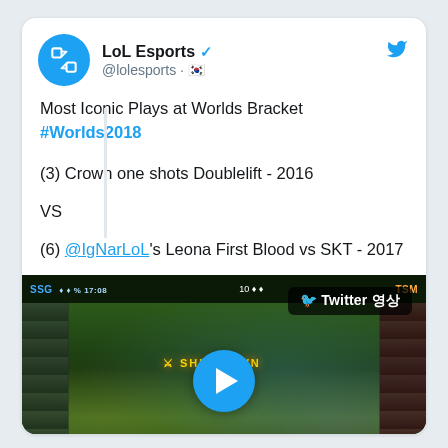LoL Esports @lolesports
Most Iconic Plays at Worlds Bracket #Worlds2018

(3) Crown one shots Doublelift - 2016

VS

(6) @IgNarLoL's Leona First Blood vs SKT - 2017
[Figure (screenshot): Video thumbnail of a League of Legends esports game showing gameplay with HUD elements, SSG vs TSM scoreboard, SHUTDOWN text, and a Twitter play button overlay with a circular blue play button in the center.]